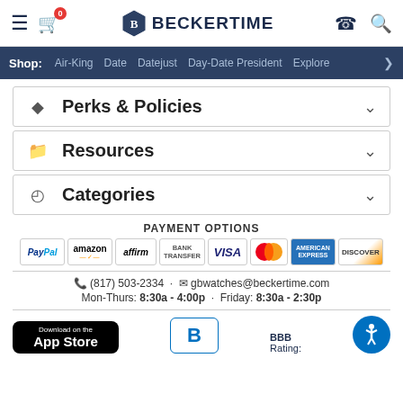BECKERTIME — Site header with navigation menu, cart (0), phone, search icons
Shop: Air-King  Date  Datejust  Day-Date President  Explorer >
Perks & Policies
Resources
Categories
PAYMENT OPTIONS
[Figure (other): Payment option logos: PayPal, amazon, affirm, BANK TRANSFER, VISA, Mastercard, AMERICAN EXPRESS, DISCOVER]
(817) 503-2334 · gbwatches@beckertime.com
Mon-Thurs: 8:30a - 4:00p · Friday: 8:30a - 2:30p
[Figure (logo): Download on the App Store button]
[Figure (logo): BBB logo]
BBB Rating:
[Figure (other): Accessibility icon button]